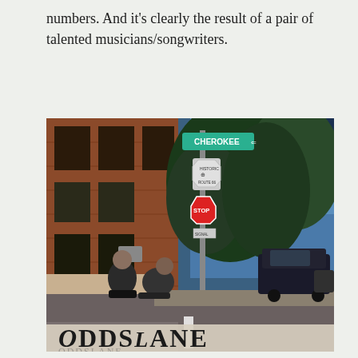numbers. And it's clearly the result of a pair of talented musicians/songwriters.
[Figure (photo): Album cover photo showing two people sitting on a street corner with a Cherokee street sign visible, a red brick building on the left, trees and a parked dark SUV in the background, and the text 'OddsLane' at the bottom of the image.]